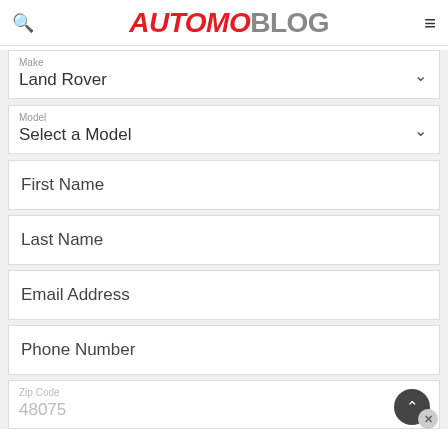AUTOMOBLOG
Make: Land Rover
Model: Select a Model
First Name
Last Name
Email Address
Phone Number
Zip Code: 48075